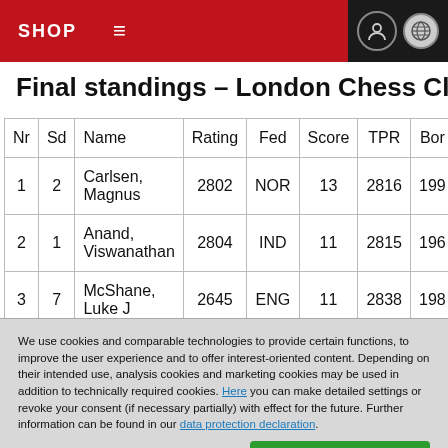SHOP
Final standings – London Chess Classic 2010
| Nr | Sd | Name | Rating | Fed | Score | TPR | Born |
| --- | --- | --- | --- | --- | --- | --- | --- |
| 1 | 2 | Carlsen, Magnus | 2802 | NOR | 13 | 2816 | 199 |
| 2 | 1 | Anand, Viswanathan | 2804 | IND | 11 | 2815 | 196 |
| 3 | 7 | McShane, Luke J | 2645 | ENG | 11 | 2838 | 198 |
| 4 | 4 | Nakamura, Hikaru | 2741 | USA | 10 | 2772 | 198 |
| 5 | 3 | Kramnik, Vladimir | 2791 | RUS | 10 | 2765 | 197 |
We use cookies and comparable technologies to provide certain functions, to improve the user experience and to offer interest-oriented content. Depending on their intended use, analysis cookies and marketing cookies may be used in addition to technically required cookies. Here you can make detailed settings or revoke your consent (if necessary partially) with effect for the future. Further information can be found in our data protection declaration.